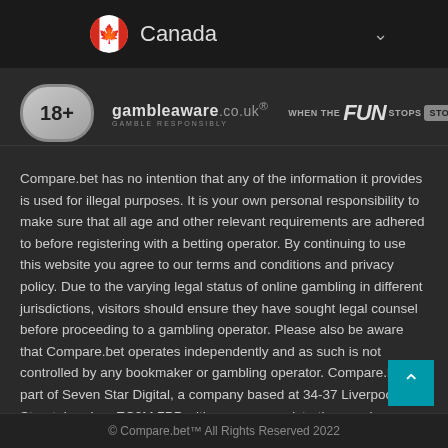[Figure (screenshot): Country selector bar showing Canadian flag emoji and 'Canada' with a dropdown chevron on dark background]
[Figure (infographic): Responsible gambling logos row: 18+ age badge, GambleAware.co.uk logo with 'Gamble Responsibly', and 'When The FUN STOPS STOP' campaign logo]
Compare.bet has no intention that any of the information it provides is used for illegal purposes. It is your own personal responsibility to make sure that all age and other relevant requirements are adhered to before registering with a betting operator. By continuing to use this website you agree to our terms and conditions and privacy policy. Due to the varying legal status of online gambling in different jurisdictions, visitors should ensure they have sought legal counsel before proceeding to a gambling operator. Please also be aware that Compare.bet operates independently and as such is not controlled by any bookmaker or gambling operator. Compare.bet is part of Seven Star Digital, a company based at 34-37 Liverpool Street, London, EC2M 7PP with company registration number 09968501.
© Compare.bet™ All Rights Reserved 2022